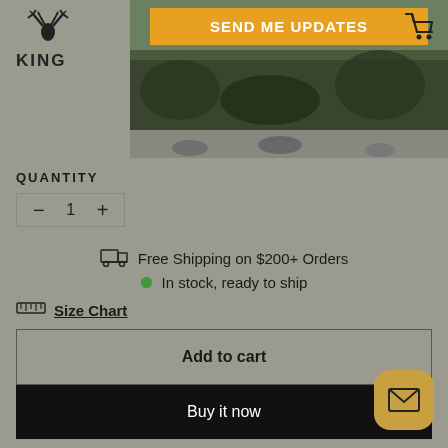[Figure (screenshot): E-commerce product page header with outdoor/hunting image background, KING logo on left, shopping cart on right, and yellow SEND ME UPDATES button overlay]
QUANTITY
− 1 +
Free Shipping on $200+ Orders
In stock, ready to ship
Size Chart
Add to cart
Buy it now
Pay in 4 interest-free installments of $49.99 with shop Learn more